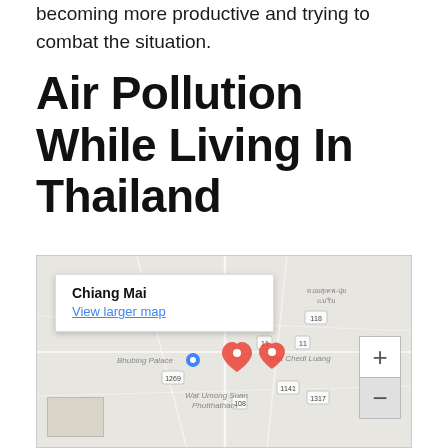becoming more productive and trying to combat the situation.
Air Pollution While Living In Thailand
[Figure (map): Google Map embed showing Chiang Mai, Thailand area with map markers for Bhubing Palace, Wat Chedi Luang, Wat Umong Suan Phutthatham, and a zoom control. An info box shows 'Chiang Mai' and a 'View larger map' link.]